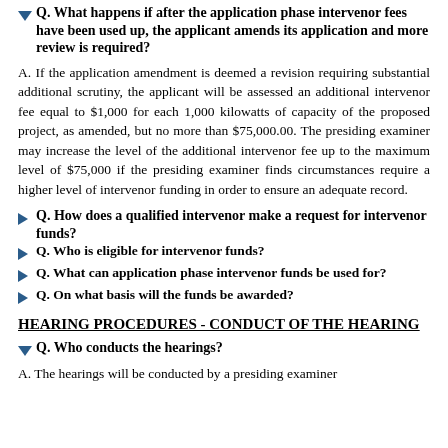Q. What happens if after the application phase intervenor fees have been used up, the applicant amends its application and more review is required?
A. If the application amendment is deemed a revision requiring substantial additional scrutiny, the applicant will be assessed an additional intervenor fee equal to $1,000 for each 1,000 kilowatts of capacity of the proposed project, as amended, but no more than $75,000.00. The presiding examiner may increase the level of the additional intervenor fee up to the maximum level of $75,000 if the presiding examiner finds circumstances require a higher level of intervenor funding in order to ensure an adequate record.
Q. How does a qualified intervenor make a request for intervenor funds?
Q. Who is eligible for intervenor funds?
Q. What can application phase intervenor funds be used for?
Q. On what basis will the funds be awarded?
HEARING PROCEDURES - CONDUCT OF THE HEARING
Q. Who conducts the hearings?
A. The hearings will be conducted by a presiding examiner